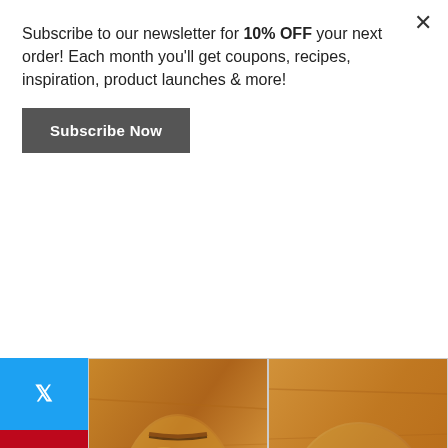Subscribe to our newsletter for 10% OFF your next order! Each month you'll get coupons, recipes, inspiration, product launches & more!
Subscribe Now
[Figure (photo): Two food photos side by side: left shows a scored pastry-wrapped loaf on a wooden cutting board, right shows a round pastry-wrapped item being cut with a knife on a wooden board.]